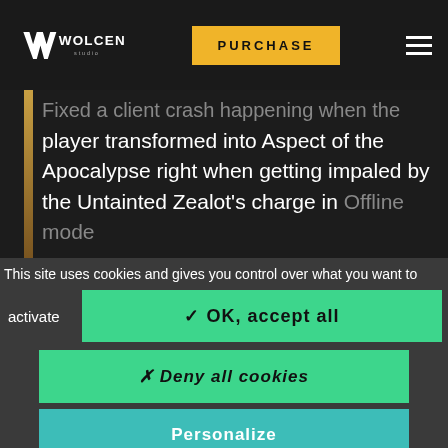Wolcen Studio - PURCHASE
Fixed a client crash happening when the player transformed into Aspect of the Apocalypse right when getting impaled by the Untainted Zealot's charge in Offline mode
This site uses cookies and gives you control over what you want to activate
✓ OK, accept all
✗ Deny all cookies
Personalize
Privacy policy